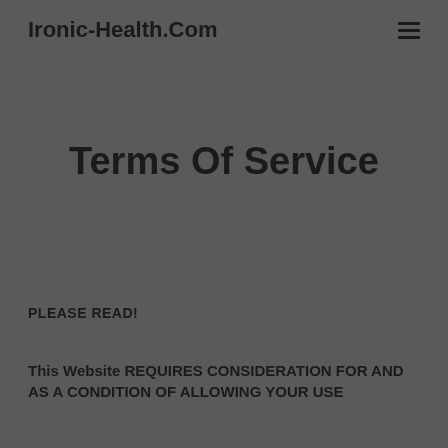Ironic-Health.Com
Terms Of Service
PLEASE READ!
This Website REQUIRES CONSIDERATION FOR AND AS A CONDITION OF ALLOWING YOUR USE